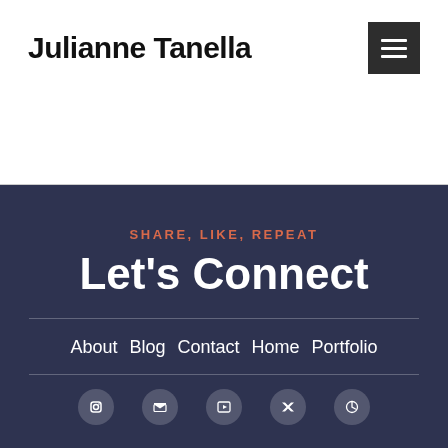Julianne Tanella
SHARE, LIKE, REPEAT
Let's Connect
About  Blog  Contact  Home  Portfolio